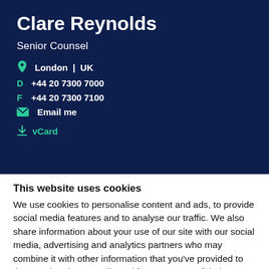Clare Reynolds
Senior Counsel
London | UK
D +44 20 7300 7000
F +44 20 7300 7100
Email me
vCard
This website uses cookies
We use cookies to personalise content and ads, to provide social media features and to analyse our traffic. We also share information about your use of our site with our social media, advertising and analytics partners who may combine it with other information that you've provided to them or that they've collected from your use of their services.